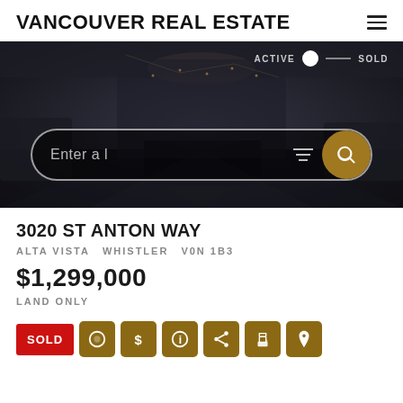VANCOUVER REAL ESTATE
[Figure (screenshot): Hero banner showing a dark luxury interior room with a search bar overlay. Toggle switch showing ACTIVE and SOLD states. Search bar with 'Enter a l' placeholder text and a gold search button.]
3020 ST ANTON WAY
ALTA VISTA   WHISTLER   V0N 1B3
$1,299,000
LAND ONLY
SOLD